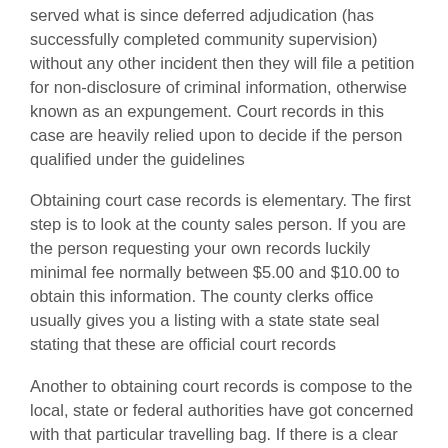served what is since deferred adjudication (has successfully completed community supervision) without any other incident then they will file a petition for non-disclosure of criminal information, otherwise known as an expungement. Court records in this case are heavily relied upon to decide if the person qualified under the guidelines
Obtaining court case records is elementary. The first step is to look at the county sales person. If you are the person requesting your own records luckily minimal fee normally between $5.00 and $10.00 to obtain this information. The county clerks office usually gives you a listing with a state state seal stating that these are official court records
Another to obtaining court records is compose to the local, state or federal authorities have got concerned with that particular travelling bag. If there is a clear need especially in an impending criminal investigation, a judge